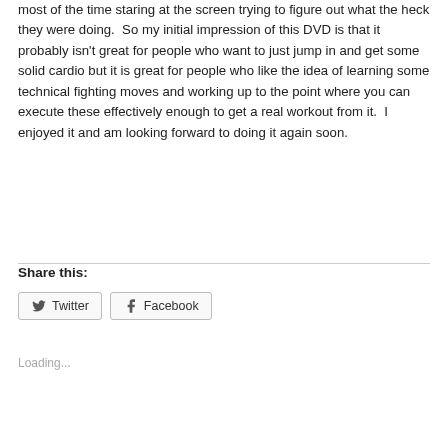most of the time staring at the screen trying to figure out what the heck they were doing.  So my initial impression of this DVD is that it probably isn't great for people who want to just jump in and get some solid cardio but it is great for people who like the idea of learning some technical fighting moves and working up to the point where you can execute these effectively enough to get a real workout from it.  I enjoyed it and am looking forward to doing it again soon.
Share this:
Twitter  Facebook
Loading...